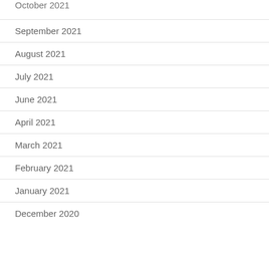October 2021
September 2021
August 2021
July 2021
June 2021
April 2021
March 2021
February 2021
January 2021
December 2020